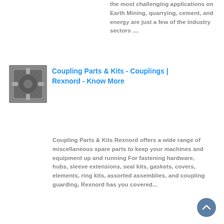the most challenging applications on Earth Mining, quarrying, cement, and energy are just a few of the industry sectors ....
[Figure (photo): Small thumbnail photo of a mechanical coupling or industrial part, dark gray metallic surface]
Coupling Parts & Kits - Couplings | Rexnord - Know More
Coupling Parts & Kits Rexnord offers a wide range of miscellaneous spare parts to keep your machines and equipment up and running For fastening hardware, hubs, sleeve extensions, seal kits, gaskets, covers, elements, ring kits, assorted assemblies, and coupling guarding, Rexnord has you covered...